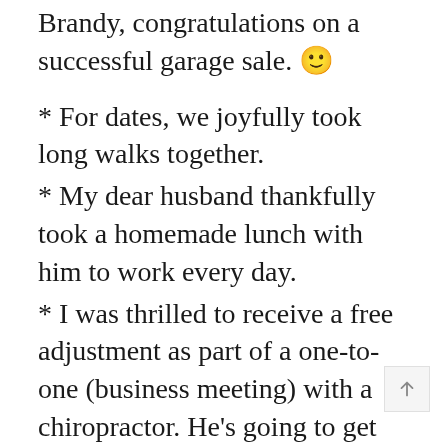Brandy, congratulations on a successful garage sale. 🙂
* For dates, we joyfully took long walks together.
* My dear husband thankfully took a homemade lunch with him to work every day.
* I was thrilled to receive a free adjustment as part of a one-to-one (business meeting) with a chiropractor. He's going to get some business from that adjustment. 🙂